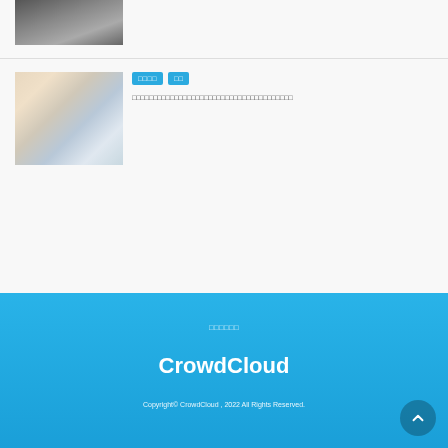[Figure (photo): Partial photo of a person in a suit (grayscale), cropped at top]
[Figure (photo): Photo of a baby being fed with a spoon]
□□□□ □□
□□□□□□□□□□□□□□□□□□□□□□□□□□□□□□□□□□□□
□□□□□□
CrowdCloud
Copyright© CrowdCloud , 2022 All Rights Reserved.